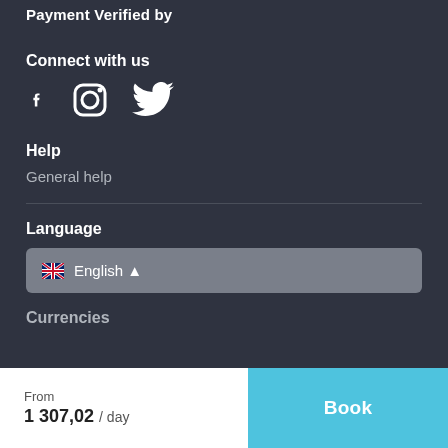Payment Verified by
Connect with us
[Figure (illustration): Social media icons: Facebook, Instagram, Twitter]
Help
General help
Language
🇬🇧 English ▲
Currencies
From
1 307,02 / day
Book